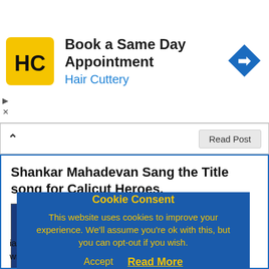[Figure (infographic): Hair Cuttery advertisement banner with HC logo, title 'Book a Same Day Appointment', subtitle 'Hair Cuttery', and a blue navigation arrow icon on the right.]
Shankar Mahadevan Sang the Title song for Calicut Heroes.
News   Comments
[Figure (photo): Partial photo of a man against a blue background, partially covered by cookie consent overlay.]
Cookie Consent
This website uses cookies to improve your experience. We'll assume you're ok with this, but you can opt-out if you wish.
Accept   Read More
ia 2019 is just 9   eroes are ready with their new Title song, Sung by Shankar Mahadevan. In a